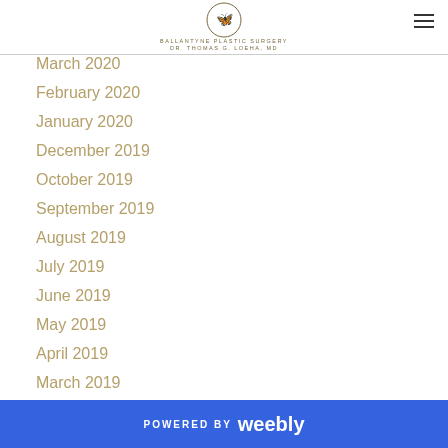BALLANTYNE PLASTIC SURGERY Dr. Thomas G. Loeha, MD
March 2020
February 2020
January 2020
December 2019
October 2019
September 2019
August 2019
July 2019
June 2019
May 2019
April 2019
March 2019
February 2019
January 2019
December 2018
POWERED BY weebly